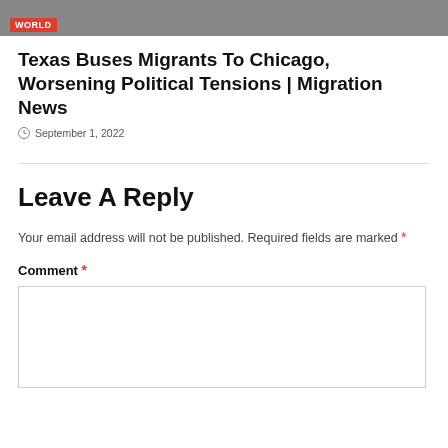[Figure (photo): Top portion of an image showing people, with a red 'WORLD' badge label overlay at bottom left]
Texas Buses Migrants To Chicago, Worsening Political Tensions | Migration News
September 1, 2022
Leave A Reply
Your email address will not be published. Required fields are marked *
Comment *